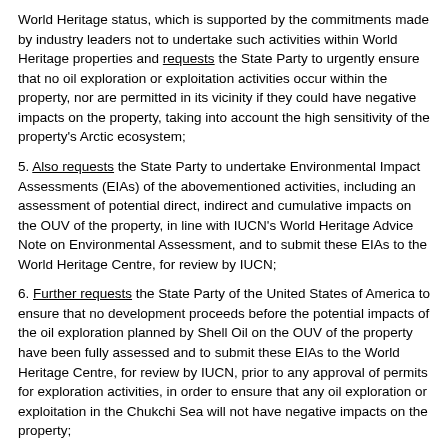World Heritage status, which is supported by the commitments made by industry leaders not to undertake such activities within World Heritage properties and requests the State Party to urgently ensure that no oil exploration or exploitation activities occur within the property, nor are permitted in its vicinity if they could have negative impacts on the property, taking into account the high sensitivity of the property's Arctic ecosystem;
5. Also requests the State Party to undertake Environmental Impact Assessments (EIAs) of the abovementioned activities, including an assessment of potential direct, indirect and cumulative impacts on the OUV of the property, in line with IUCN's World Heritage Advice Note on Environmental Assessment, and to submit these EIAs to the World Heritage Centre, for review by IUCN;
6. Further requests the State Party of the United States of America to ensure that no development proceeds before the potential impacts of the oil exploration planned by Shell Oil on the OUV of the property have been fully assessed and to submit these EIAs to the World Heritage Centre, for review by IUCN, prior to any approval of permits for exploration activities, in order to ensure that any oil exploration or exploitation in the Chukchi Sea will not have negative impacts on the property;
7. Requests furthermore the State Party to invite a joint World Heritage Centre/IUCN Reactive Monitoring mission to assess the state of conservation of the property and evaluate current and potential impacts from the construction of the military base within the property and from the oil exploration activities undertaken by Rosneft and/or others, as well as other planned activities in the area and their cumulative impacts;
8. Reiterates its request to the State Party to develop and implement an effective plan for tourism use within the property, taking into account the particular sensitivity of the tundra ecosystem, conduct an EIA for the planned tourism infrastructure, in line with IUCN World Heritage...